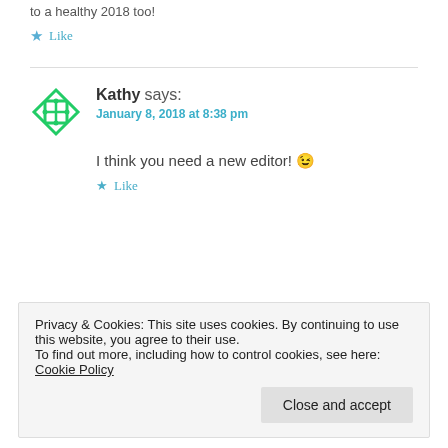to a healthy 2018 too!
★ Like
Kathy says:
January 8, 2018 at 8:38 pm
I think you need a new editor! 😉
★ Like
Privacy & Cookies: This site uses cookies. By continuing to use this website, you agree to their use.
To find out more, including how to control cookies, see here: Cookie Policy
Close and accept